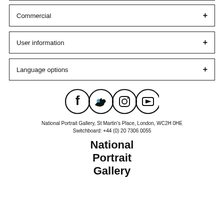Commercial +
User information +
Language options +
[Figure (infographic): Social media icons: Facebook, Twitter, Instagram, YouTube in circles]
National Portrait Gallery, St Martin's Place, London, WC2H 0HE
Switchboard: +44 (0) 20 7306 0055
[Figure (logo): National Portrait Gallery logo in bold black text]